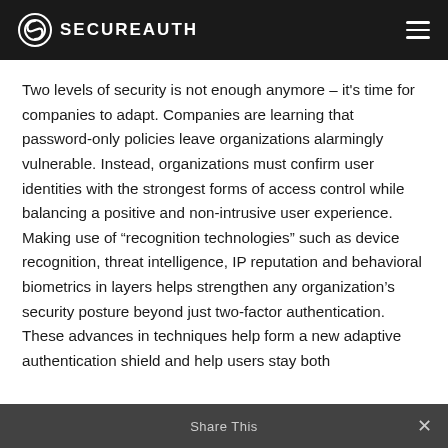SECUREAUTH
Two levels of security is not enough anymore – it's time for companies to adapt. Companies are learning that password-only policies leave organizations alarmingly vulnerable. Instead, organizations must confirm user identities with the strongest forms of access control while balancing a positive and non-intrusive user experience. Making use of “recognition technologies” such as device recognition, threat intelligence, IP reputation and behavioral biometrics in layers helps strengthen any organization’s security posture beyond just two-factor authentication. These advances in techniques help form a new adaptive authentication shield and help users stay both
Share This